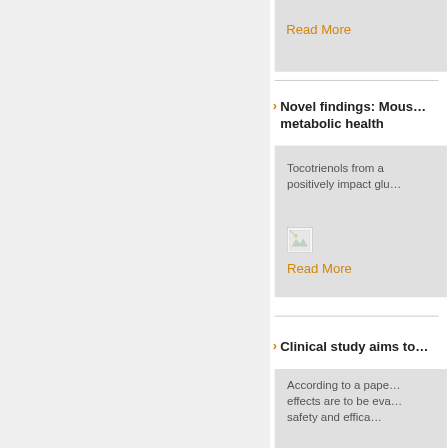Read More
Novel findings: Mouse … metabolic health
Tocotrienols from a… positively impact glu…
[Figure (photo): Broken/loading image thumbnail]
Read More
Clinical study aims to…
According to a pape… effects are to be eva… safety and effica…